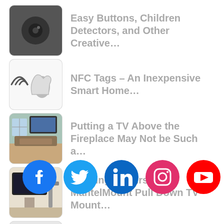Easy Buttons, Children Detectors, and Other Creative…
NFC Tags – An Inexpensive Smart Home…
Putting a TV Above the Fireplace May Not be Such a…
Tackling My First MantelMount Pull Down TV Mount…
Hunter Douglas Offers New Control Drivers for…
[Figure (infographic): Row of 5 social media icons: Facebook (blue), Twitter (light blue), LinkedIn (dark blue), Instagram (pink/magenta), YouTube (red)]